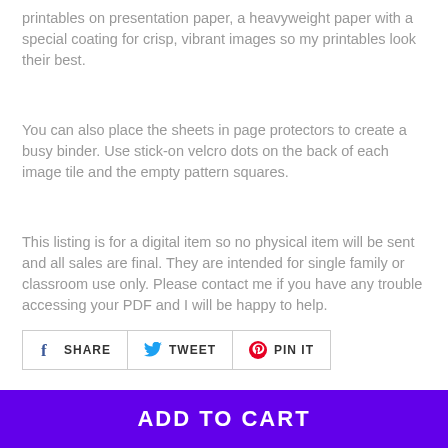printables on presentation paper, a heavyweight paper with a special coating for crisp, vibrant images so my printables look their best.
You can also place the sheets in page protectors to create a busy binder. Use stick-on velcro dots on the back of each image tile and the empty pattern squares.
This listing is for a digital item so no physical item will be sent and all sales are final. They are intended for single family or classroom use only. Please contact me if you have any trouble accessing your PDF and I will be happy to help.
[Figure (other): Social sharing buttons: SHARE (Facebook), TWEET (Twitter), PIN IT (Pinterest)]
ADD TO CART